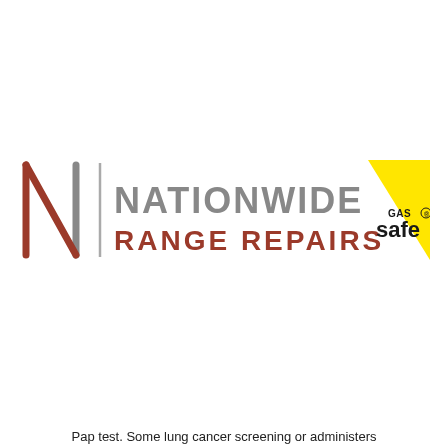[Figure (logo): Nationwide Range Repairs logo with stylized N lettermark in dark red/terracotta and grey, vertical divider line, text 'NATIONWIDE' in grey and 'RANGE REPAIRS' in dark red, and Gas Safe registered yellow triangle badge with 'GAS safe' text.]
Pap test. Some lung cancer screening or administers